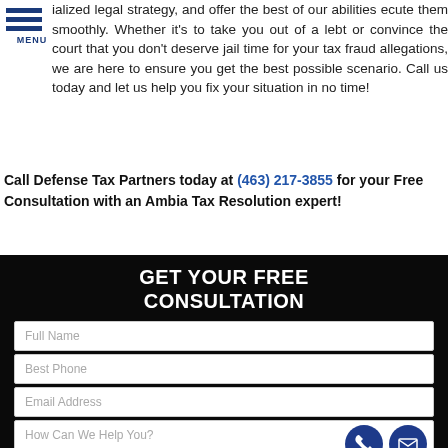[Figure (other): Hamburger menu icon with three blue horizontal bars and MENU label]
ialized legal strategy, and offer the best of our abilities ecute them smoothly. Whether it's to take you out of a lebt or convince the court that you don't deserve jail time for your tax fraud allegations, we are here to ensure you get the best possible scenario. Call us today and let us help you fix your situation in no time!
Call Defense Tax Partners today at (463) 217-3855 for your Free Consultation with an Ambia Tax Resolution expert!
GET YOUR FREE CONSULTATION
Full Name
Best Phone
Email Address
How Can We Help You?